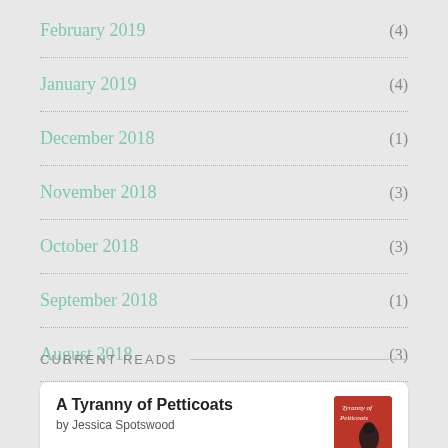February 2019 (4)
January 2019 (4)
December 2018 (1)
November 2018 (3)
October 2018 (3)
September 2018 (1)
August 2018 (3)
CURRENT READS
A Tyranny of Petticoats by Jessica Spotswood